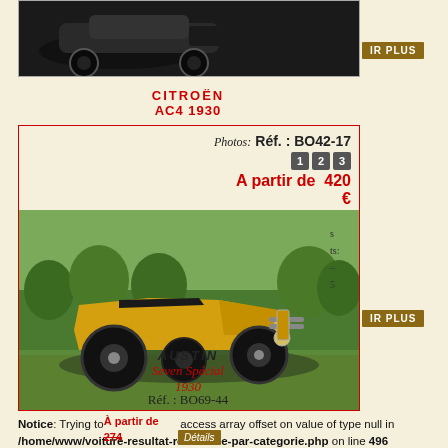[Figure (photo): Black vintage car photographed from above/side, dark background]
IR PLUS
CITROËN
AC4 1930
Photos: Réf. : BO42-17
1 2 3
A partir de 420 €
[Figure (photo): Vintage yellow and black racing car (Austin Seven Special 1930) on grass]
IR PLUS
AUSTIN
Seven Spécial
1930
Réf. : BO69-44
À partir de 374
€
Détails
Notice: Trying to access array offset on value of type null in /home/www/voiture-resultat-recherche-par-categorie.php on line 496